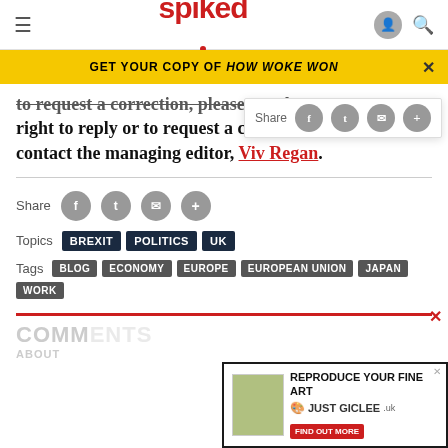spiked
GET YOUR COPY OF HOW WOKE WON
right to reply or to request a … contact the managing editor, Viv Regan.
Share
Topics  BREXIT  POLITICS  UK
Tags  BLOG  ECONOMY  EUROPE  EUROPEAN UNION  JAPAN  WORK
COMMENTS
ABOUT
[Figure (screenshot): Advertisement banner: REPRODUCE YOUR FINE ART - JUST GICLEE]